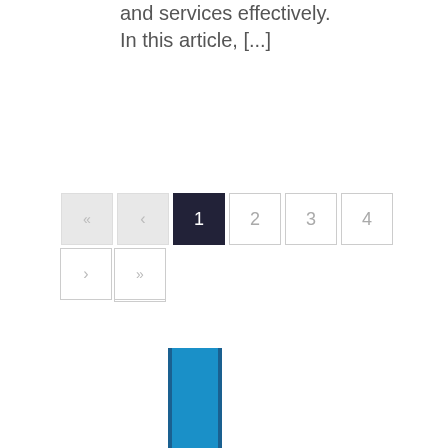and services effectively. In this article, [...]
[Figure (other): Pagination control widget showing navigation buttons: double-left arrow (disabled), single-left arrow (disabled), page 1 (active/selected, dark background), pages 2, 3, 4, 5 (unselected), single-right arrow, double-right arrow]
[Figure (bar-chart): Partial bar chart visible at bottom of page, showing a blue bar with dark outline, cropped at bottom edge]